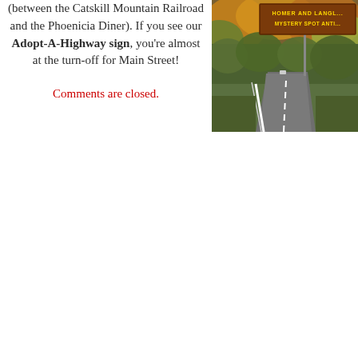(between the Catskill Mountain Railroad and the Phoenicia Diner). If you see our Adopt-A-Highway sign, you're almost at the turn-off for Main Street!
Comments are closed.
[Figure (photo): A road through autumn foliage with a brown highway sign reading 'HOMER AND LANGL... MYSTERY SPOT ANTI...']